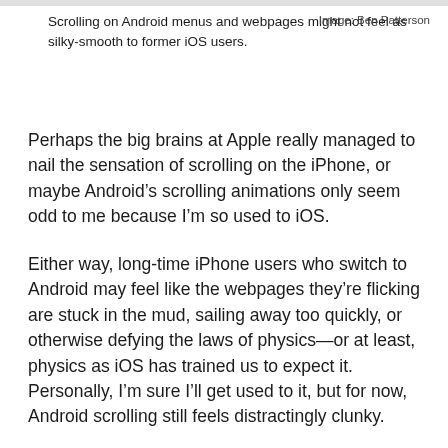Scrolling on Android menus and webpages might not feel as silky-smooth to former iOS users.
Image: Ben Patterson
Perhaps the big brains at Apple really managed to nail the sensation of scrolling on the iPhone, or maybe Android’s scrolling animations only seem odd to me because I’m so used to iOS.
Either way, long-time iPhone users who switch to Android may feel like the webpages they’re flicking are stuck in the mud, sailing away too quickly, or otherwise defying the laws of physics—or at least, physics as iOS has trained us to expect it. Personally, I’m sure I’ll get used to it, but for now, Android scrolling still feels distractingly clunky.